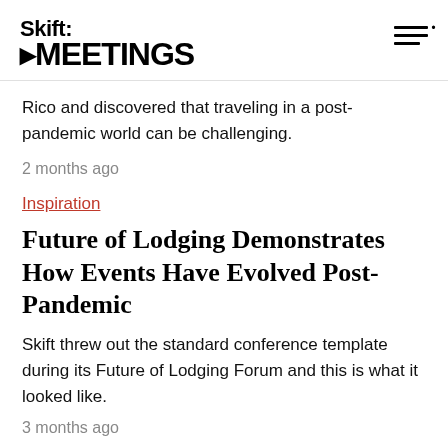Skift MEETINGS
Rico and discovered that traveling in a post-pandemic world can be challenging.
2 months ago
Inspiration
Future of Lodging Demonstrates How Events Have Evolved Post-Pandemic
Skift threw out the standard conference template during its Future of Lodging Forum and this is what it looked like.
3 months ago
Inspiration